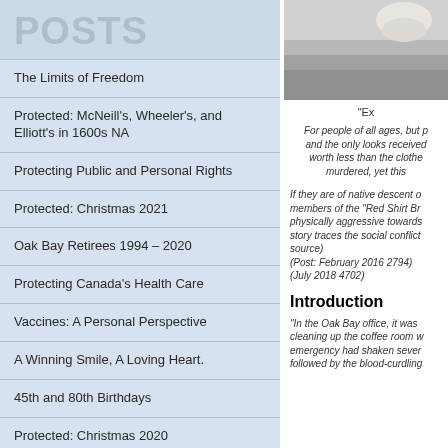POSTS
The Limits of Freedom
Protected: McNeill's, Wheeler's, and Elliott's in 1600s NA
Protecting Public and Personal Rights
Protected: Christmas 2021
Oak Bay Retirees 1994 – 2020
Protecting Canada's Health Care
Vaccines: A Personal Perspective
A Winning Smile, A Loving Heart.
45th and 80th Birthdays
Protected: Christmas 2020
[Figure (photo): Photo of an animal on pavement, partially visible at top right]
“Ex
For people of all ages, but p... and the only looks received... worth less than the clothe... murdered, yet this
If they are of native descent o... members of the “Red Shirt Br... physically aggressive towards... story traces the social conflict... source)
(Post: February 2016 2794)
(July 2018 4702)
Introduction
“In the Oak Bay office, it was ... cleaning up the coffee room w... emergency had shaken sever... followed by the blood-curdling...